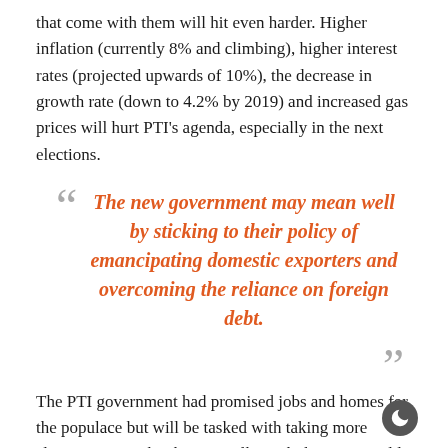that come with them will hit even harder. Higher inflation (currently 8% and climbing), higher interest rates (projected upwards of 10%), the decrease in growth rate (down to 4.2% by 2019) and increased gas prices will hurt PTI's agenda, especially in the next elections.
The new government may mean well by sticking to their policy of emancipating domestic exporters and overcoming the reliance on foreign debt.
The PTI government had promised jobs and homes for the populace but will be tasked with taking more 'decisive action' by the time talks with the IMF would have ended. Such policies would include more exchange rate flexibility and stricter monetary regulation, further fiscal adjustment notwithstanding costs incurred from having to revive a struggling economy such as providing subsidies to